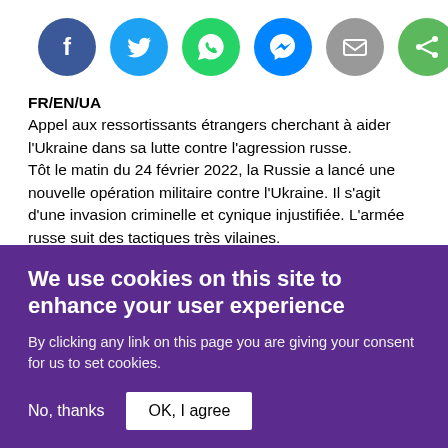[Figure (infographic): Six social media sharing icons in circles: Facebook (dark blue), Twitter (light blue), WhatsApp (green), Messenger (blue), Email (grey), Share (green)]
FR/EN/UA
Appel aux ressortissants étrangers cherchant à aider l'Ukraine dans sa lutte contre l'agression russe.
Tôt le matin du 24 février 2022, la Russie a lancé une nouvelle opération militaire contre l'Ukraine. Il s'agit d'une invasion criminelle et cynique injustifiée. L'armée russe suit des tactiques très vilaines.
Les habitations détruites par les missiles et l'artillerie sont l'argument ultime pour que le monde arrête l'invasion de l'occupation à nos côtés. Les Ukrainiens
We use cookies on this site to enhance your user experience
By clicking any link on this page you are giving your consent for us to set cookies.
No, thanks   OK, I agree